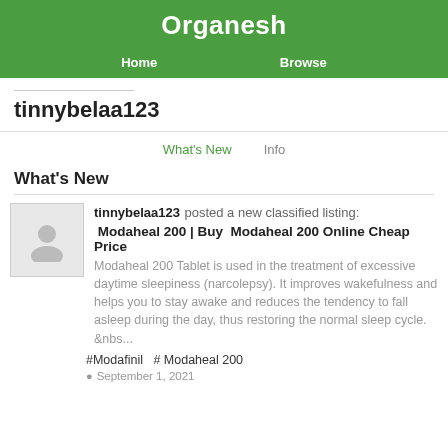Organesh
Home   Browse
tinnybelaa123
What's New   Info
What's New
tinnybelaa123 posted a new classified listing:
 Modaheal 200 | Buy  Modaheal 200 Online Cheap Price
Modaheal 200 Tablet is used in the treatment of excessive daytime sleepiness (narcolepsy). It improves wakefulness and helps you to stay awake and reduces the tendency to fall asleep during the day, thus restoring the normal sleep cycle.
&nbs...
#Modafinil  # Modaheal 200
September 1, 2021